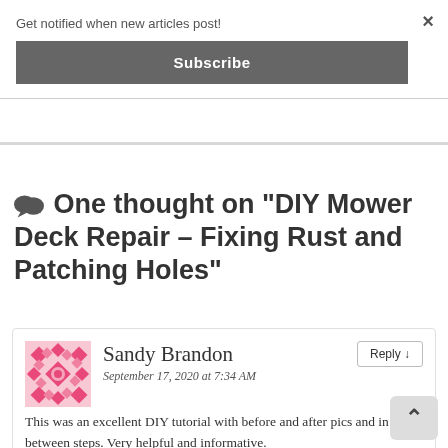Get notified when new articles post!
Subscribe
One thought on “DIY Mower Deck Repair – Fixing Rust and Patching Holes”
Sandy Brandon
September 17, 2020 at 7:34 AM
This was an excellent DIY tutorial with before and after pics and in between steps. Very helpful and informative.